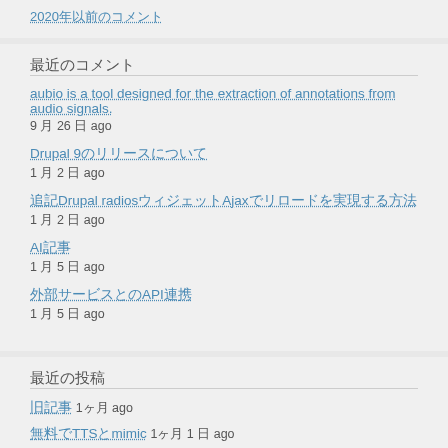2020年以前のコメント
最近のコメント
aubio is a tool designed for the extraction of annotations from audio signals.
9 月 26 日 ago
Drupal 9のリリースについて
1 月 2 日 ago
追記Drupal radiosウィジェットAjaxでリロードを実現する方法
1 月 2 日 ago
AI記事
1 月 5 日 ago
外部サービスとのAPI連携
1 月 5 日 ago
最近の投稿
旧記事 1ヶ月 ago
無料でTTSとmimic 1ヶ月 1 日 ago